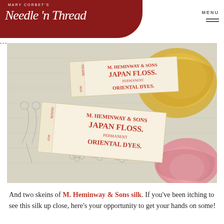MARY CORBET'S Needle 'n Thread
[Figure (photo): Two vintage M. Heminway & Sons Japan Floss labels with text 'M. HEMINWAY & SONS JAPAN FLOSS. PERMANENT ORIENTAL DYES.' shown on embroidery fabric alongside skeins of gold and pink silk thread]
And two skeins of M. Heminway & Sons silk. If you've been itching to see this silk up close, here's your opportunity to get your hands on some!